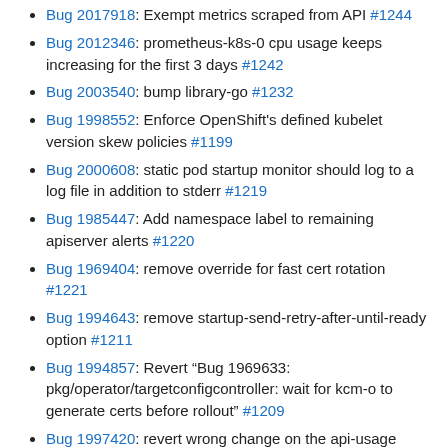Bug 2017918: Exempt metrics scraped from API #1244
Bug 2012346: prometheus-k8s-0 cpu usage keeps increasing for the first 3 days #1242
Bug 2003540: bump library-go #1232
Bug 1998552: Enforce OpenShift's defined kubelet version skew policies #1199
Bug 2000608: static pod startup monitor should log to a log file in addition to stderr #1219
Bug 1985447: Add namespace label to remaining apiserver alerts #1220
Bug 1969404: remove override for fast cert rotation #1221
Bug 1994643: remove startup-send-retry-after-until-ready option #1211
Bug 1994857: Revert "Bug 1969633: pkg/operator/targetconfigcontroller: wait for kcm-o to generate certs before rollout" #1209
Bug 1997420: revert wrong change on the api-usage #1204